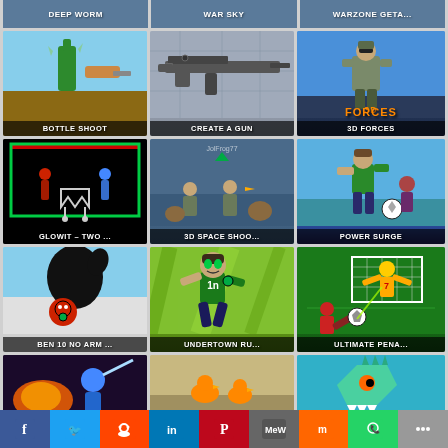[Figure (screenshot): Top row game thumbnails: DEEP WORM, WAR SKY, WARZONE GETA...]
[Figure (screenshot): BOTTLE SHOOT game thumbnail - bottle being shot with gun]
[Figure (screenshot): CREATE A GUN game thumbnail - assault rifle on blueprint background]
[Figure (screenshot): 3D FORCES game thumbnail - 3D soldier character]
[Figure (screenshot): GLOWIT – TWO ... game thumbnail - neon glow characters on black background]
[Figure (screenshot): 3D SPACE SHOO... game thumbnail - space shooter gameplay]
[Figure (screenshot): POWER SURGE game thumbnail - soccer/cartoon character]
[Figure (screenshot): BEN 10 NO ARM ... game thumbnail - Ben 10 character no arms]
[Figure (screenshot): UNDERTOWN RU... game thumbnail - Ben 10 running character]
[Figure (screenshot): ULTIMATE PENA... game thumbnail - penalty kick soccer game]
[Figure (screenshot): Partial row: fire/action game thumbnail]
[Figure (screenshot): Partial row: duck/animal game thumbnail]
[Figure (screenshot): Partial row: dragon/creature game thumbnail]
[Figure (infographic): Social share bar with icons: Facebook, Twitter, Reddit, LinkedIn, Pinterest, MeWe, Mix, WhatsApp, More]